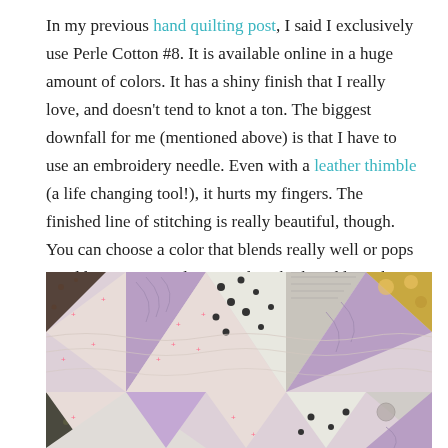In my previous hand quilting post, I said I exclusively use Perle Cotton #8. It is available online in a huge amount of colors. It has a shiny finish that I really love, and doesn't tend to knot a ton. The biggest downfall for me (mentioned above) is that I have to use an embroidery needle. Even with a leather thimble (a life changing tool!), it hurts my fingers. The finished line of stitching is really beautiful, though. You can choose a color that blends really well or pops to add extra personality. I've done both and love the look of both!
[Figure (photo): Close-up photograph of a patchwork quilt with triangular pieces in purple, lavender, cream/white with pink cross stitches, black polka dots, and gold/gray circular patterns, showing hand quilting stitches.]